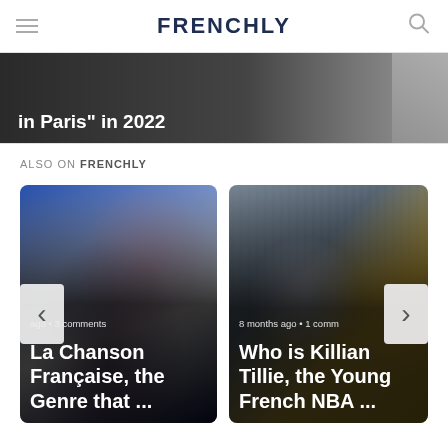FRENCHLY
[Figure (photo): Partial hero banner image showing text 'in Paris" in 2022' overlaid on a dark greyscale photo]
ALSO ON FRENCHLY
[Figure (photo): Card: Photo of a female singer performing, with text overlay '...ago • 3 comments' and title 'La Chanson Française, the Genre that ...']
[Figure (photo): Card: Photo of basketball players including Killian Tillie, with text overlay '8 months ago • 1 comm...' and title 'Who is Killian Tillie, the Young French NBA ...']